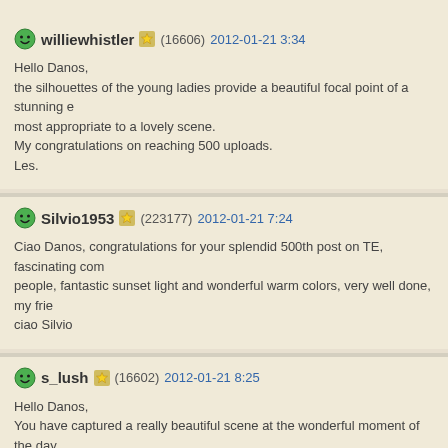williewhistler (16606) 2012-01-21 3:34
Hello Danos,
the silhouettes of the young ladies provide a beautiful focal point of a stunning e...
most appropriate to a lovely scene.
My congratulations on reaching 500 uploads.
Les.
Silvio1953 (223177) 2012-01-21 7:24
Ciao Danos, congratulations for your splendid 500th post on TE, fascinating com...
people, fantastic sunset light and wonderful warm colors, very well done, my frie...
ciao Silvio
s_lush (16602) 2012-01-21 8:25
Hello Danos,
You have captured a really beautiful scene at the wonderful moment of the day,...
silhouettes of people look so interesting. A highly artistic and masterful job!
Best regards,
Sergiy